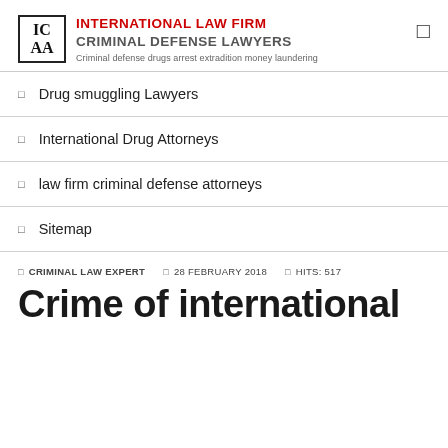INTERNATIONAL LAW FIRM CRIMINAL DEFENSE LAWYERS — Criminal defense drugs arrest extradition money laundering
Drug smuggling Lawyers
International Drug Attorneys
law firm criminal defense attorneys
Sitemap
CRIMINAL LAW EXPERT  28 FEBRUARY 2018  HITS: 517
Crime of international